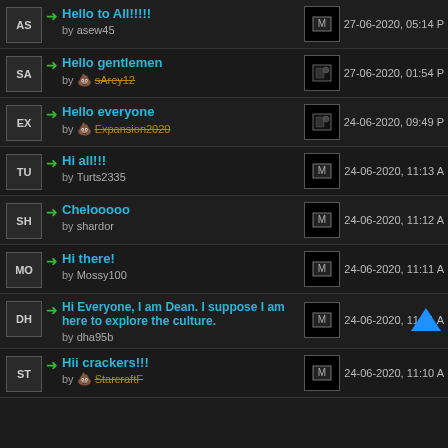Hello to All!!!!!
by asew45 — 27-06-2020, 05:14 P
Hello gentlemen
by sArey12 — 27-06-2020, 01:54 P
Hello everyone
by Expansion2020 — 24-06-2020, 09:49 P
Hi all!!!
by Turts2335 — 24-06-2020, 11:13 A
Chelooooo
by shardor — 24-06-2020, 11:12 A
Hi there!
by Mossy100 — 24-06-2020, 11:11 A
Hi Everyone, I am Dean. I suppose I am here to explore the culture.
by dha95b — 24-06-2020, 11:11 A
Hii crackers!!!
by StarcraftF — 24-06-2020, 11:10 A